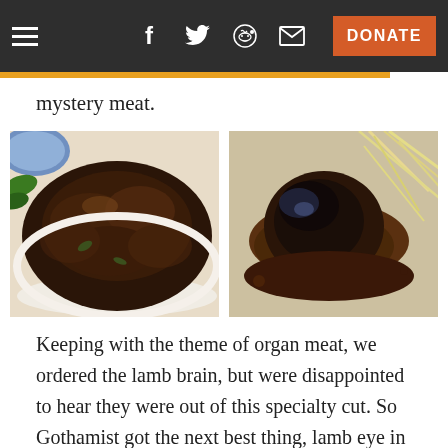Navigation bar with hamburger menu, social icons (Facebook, Twitter, Reddit, Email), and DONATE button
mystery meat.
[Figure (photo): Two food photos side by side: left shows a dark braised/stir-fried dish on a white plate, right shows a lamb eye in brown sauce on a plate]
Keeping with the theme of organ meat, we ordered the lamb brain, but were disappointed to hear they were out of this specialty cut. So Gothamist got the next best thing, lamb eye in brown sauce. The eyes